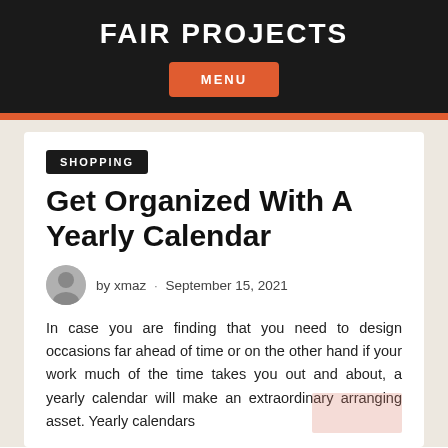FAIR PROJECTS
MENU
SHOPPING
Get Organized With A Yearly Calendar
by xmaz · September 15, 2021
In case you are finding that you need to design occasions far ahead of time or on the other hand if your work much of the time takes you out and about, a yearly calendar will make an extraordinary arranging asset. Yearly calendars